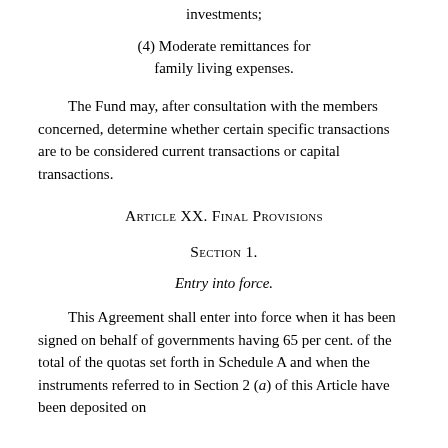investments;
(4) Moderate remittances for family living expenses.
The Fund may, after consultation with the members concerned, determine whether certain specific transactions are to be considered current transactions or capital transactions.
Article XX. Final Provisions
Section 1.
Entry into force.
This Agreement shall enter into force when it has been signed on behalf of governments having 65 per cent. of the total of the quotas set forth in Schedule A and when the instruments referred to in Section 2 (a) of this Article have been deposited on